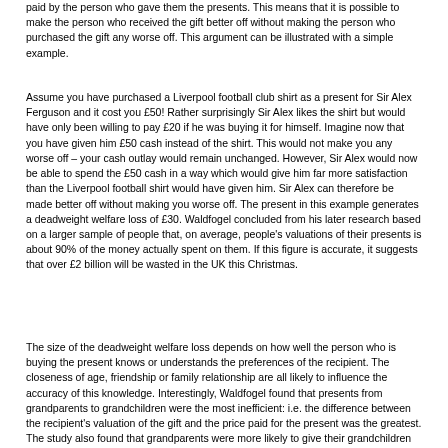paid by the person who gave them the presents. This means that it is possible to make the person who received the gift better off without making the person who purchased the gift any worse off. This argument can be illustrated with a simple example.
Assume you have purchased a Liverpool football club shirt as a present for Sir Alex Ferguson and it cost you £50! Rather surprisingly Sir Alex likes the shirt but would have only been willing to pay £20 if he was buying it for himself. Imagine now that you have given him £50 cash instead of the shirt. This would not make you any worse off – your cash outlay would remain unchanged. However, Sir Alex would now be able to spend the £50 cash in a way which would give him far more satisfaction than the Liverpool football shirt would have given him. Sir Alex can therefore be made better off without making you worse off. The present in this example generates a deadweight welfare loss of £30. Waldfogel concluded from his later research based on a larger sample of people that, on average, people's valuations of their presents is about 90% of the money actually spent on them. If this figure is accurate, it suggests that over £2 billion will be wasted in the UK this Christmas.
The size of the deadweight welfare loss depends on how well the person who is buying the present knows or understands the preferences of the recipient. The closeness of age, friendship or family relationship are all likely to influence the accuracy of this knowledge. Interestingly, Waldfogel found that presents from grandparents to grandchildren were the most inefficient: i.e. the difference between the recipient's valuation of the gift and the price paid for the present was the greatest. The study also found that grandparents were more likely to give their grandchildren cash gifts.